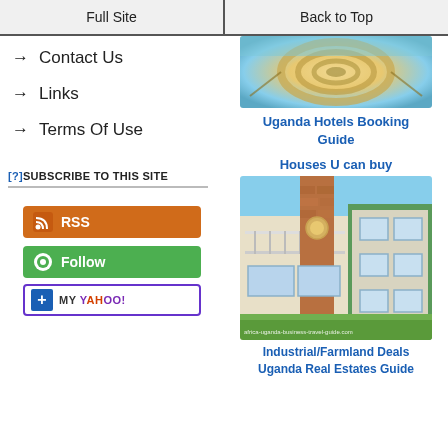Full Site | Back to Top
→ Contact Us
→ Links
→ Terms Of Use
[?]SUBSCRIBE TO THIS SITE
[Figure (screenshot): RSS button - orange with RSS icon]
[Figure (screenshot): Follow button - green with circle icon]
[Figure (screenshot): Add to My Yahoo! button]
[Figure (photo): Partial view of a spiral staircase - Uganda Hotels Booking Guide]
Uganda Hotels Booking Guide
Houses U can buy
[Figure (photo): Photo of a modern house with balcony and brick column, watermark: africa-uganda-business-travel-guide.com]
Industrial/Farmland Deals Uganda Real Estates Guide